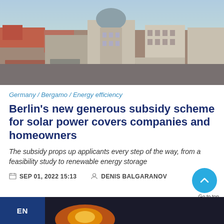[Figure (photo): Aerial view of Berlin cityscape showing rooftops, buildings, and a domed structure in the center background]
Germany / Bergamo / Energy efficiency
Berlin's new generous subsidy scheme for solar power covers companies and homeowners
The subsidy props up applicants every step of the way, from a feasibility study to renewable energy storage
SEP 01, 2022 15:13   DENIS BALGARANOV
[Figure (screenshot): Bottom bar with EN language badge and partial image strip, plus Go to top button]